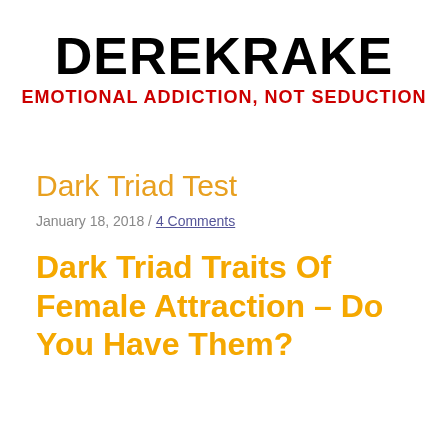DEREKRAKE
EMOTIONAL ADDICTION, NOT SEDUCTION
Dark Triad Test
January 18, 2018 / 4 Comments
Dark Triad Traits Of Female Attraction – Do You Have Them?